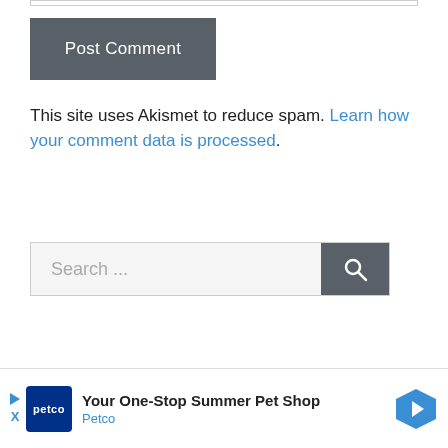[Figure (screenshot): Post Comment button — dark gray rectangular button with white text]
This site uses Akismet to reduce spam. Learn how your comment data is processed.
[Figure (screenshot): Search bar with text 'Search ...' and dark gray search icon button]
[Figure (photo): Partial circular image showing green foliage]
[Figure (screenshot): Advertisement bar: Petco — Your One-Stop Summer Pet Shop]